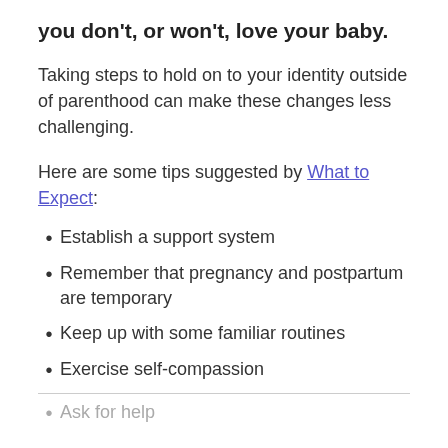you don't, or won't, love your baby.
Taking steps to hold on to your identity outside of parenthood can make these changes less challenging.
Here are some tips suggested by What to Expect:
Establish a support system
Remember that pregnancy and postpartum are temporary
Keep up with some familiar routines
Exercise self-compassion
Ask for help